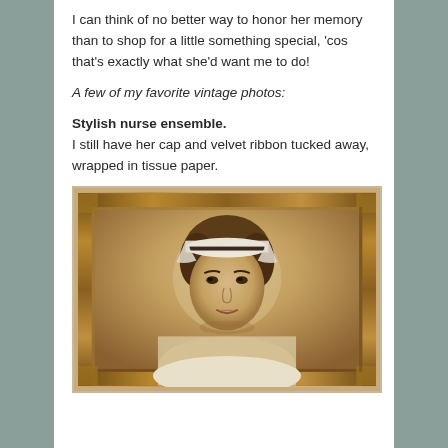I can think of no better way to honor her memory than to shop for a little something special, 'cos that's exactly what she'd want me to do!
A few of my favorite vintage photos:
Stylish nurse ensemble.
I still have her cap and velvet ribbon tucked away, wrapped in tissue paper.
[Figure (photo): Vintage sepia-toned portrait photograph of a young woman wearing a nurse's cap with a dark ribbon, displayed in an ornate gold/brown frame. The woman is smiling slightly and wearing a white nurse uniform.]